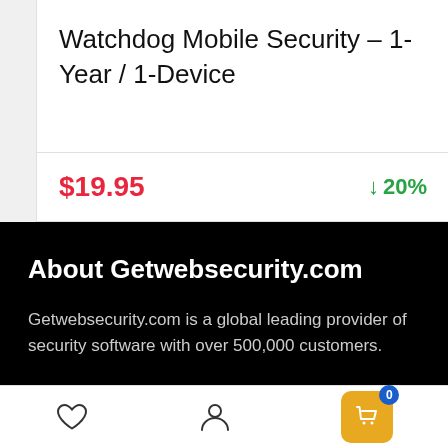Watchdog Mobile Security – 1-Year / 1-Device
$19.95  ↓ 20%
About Getwebsecurity.com
Getwebsecurity.com is a global leading provider of security software with over 500,000 customers.
♡  👤  🛒 0